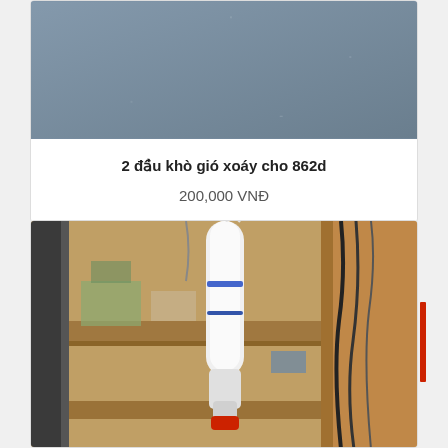[Figure (photo): Product photo showing a plain blue-grey background surface]
2 đầu khò gió xoáy cho 862d
200,000 VNĐ
[Figure (photo): Photo of a heat gun/soldering station nozzle on a wooden workbench with cables and tools in the background]